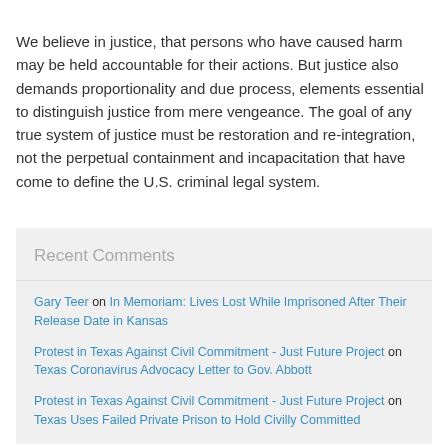We believe in justice, that persons who have caused harm may be held accountable for their actions. But justice also demands proportionality and due process, elements essential to distinguish justice from mere vengeance. The goal of any true system of justice must be restoration and re-integration, not the perpetual containment and incapacitation that have come to define the U.S. criminal legal system.
Recent Comments
Gary Teer on In Memoriam: Lives Lost While Imprisoned After Their Release Date in Kansas
Protest in Texas Against Civil Commitment - Just Future Project on Texas Coronavirus Advocacy Letter to Gov. Abbott
Protest in Texas Against Civil Commitment - Just Future Project on Texas Uses Failed Private Prison to Hold Civilly Committed